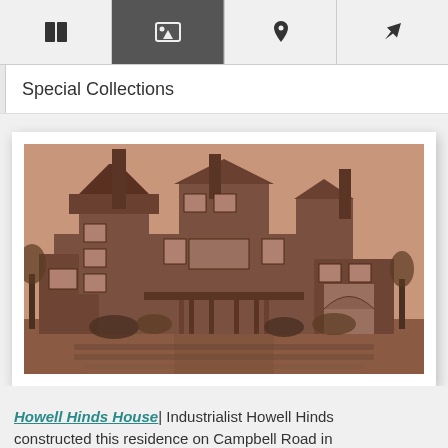Special Collections
[Figure (photo): Sepia-toned historical photograph of the Howell Hinds House, a large Victorian-era stone mansion with turrets, dormers, and decorative stonework, surrounded by landscaped grounds.]
Howell Hinds House | Industrialist Howell Hinds constructed this residence on Campbell Road in...